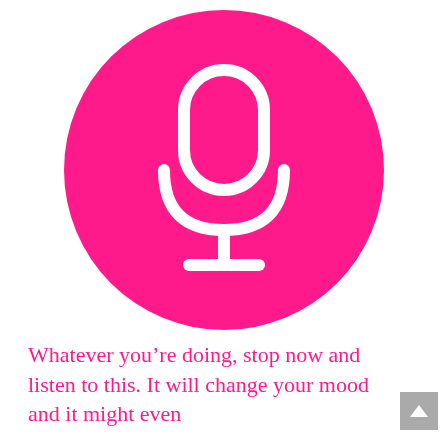[Figure (illustration): Hot pink circle containing a white microphone icon (outline style) centered on the upper portion of the page]
Whatever you’re doing, stop now and listen to this. It will change your mood and it might even